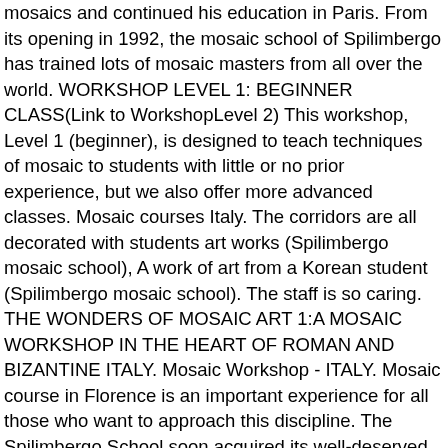mosaics and continued his education in Paris. From its opening in 1992, the mosaic school of Spilimbergo has trained lots of mosaic masters from all over the world. WORKSHOP LEVEL 1: BEGINNER CLASS(Link to WorkshopLevel 2) This workshop, Level 1 (beginner), is designed to teach techniques of mosaic to students with little or no prior experience, but we also offer more advanced classes. Mosaic courses Italy. The corridors are all decorated with students art works (Spilimbergo mosaic school), A work of art from a Korean student (Spilimbergo mosaic school). The staff is so caring. THE WONDERS OF MOSAIC ART 1:A MOSAIC WORKSHOP IN THE HEART OF ROMAN AND BIZANTINE ITALY. Mosaic Workshop - ITALY. Mosaic course in Florence is an important experience for all those who want to approach this discipline. The Spilimbergo School soon acquired its well-deserved reputation, also thanks to the works commissioned by the Government for the Mussolini Forum (today's Foro Italico) in Rome with over 6000 sq.m of floor and wall mosaics. Guided tour of mosaics in Ravenna. I sent both my older daughter and son (who is currently there). The students